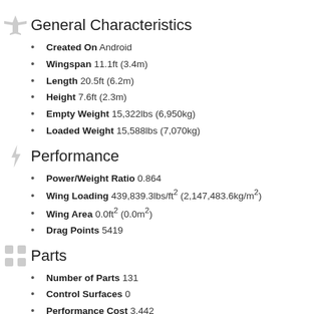General Characteristics
Created On Android
Wingspan 11.1ft (3.4m)
Length 20.5ft (6.2m)
Height 7.6ft (2.3m)
Empty Weight 15,322lbs (6,950kg)
Loaded Weight 15,588lbs (7,070kg)
Performance
Power/Weight Ratio 0.864
Wing Loading 439,839.3lbs/ft² (2,147,483.6kg/m²)
Wing Area 0.0ft² (0.0m²)
Drag Points 5419
Parts
Number of Parts 131
Control Surfaces 0
Performance Cost 3,442
Required Mods